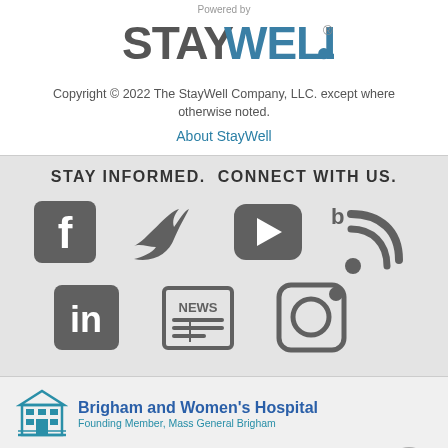Powered by
[Figure (logo): StayWell logo in large gray sans-serif text with registered trademark symbol]
Copyright © 2022 The StayWell Company, LLC. except where otherwise noted.
About StayWell
STAY INFORMED.  CONNECT WITH US.
[Figure (infographic): Social media icons: Facebook, Twitter, YouTube, Blog/RSS, LinkedIn, News, Instagram]
[Figure (logo): Brigham and Women's Hospital logo with building icon, bold blue text 'Brigham and Women's Hospital' and subtitle 'Founding Member, Mass General Brigham']
BRIGHAM AND WOMEN'S HOSPITAL